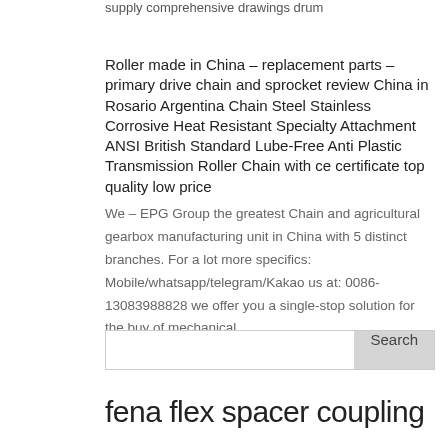supply comprehensive drawings drum
Roller made in China – replacement parts – primary drive chain and sprocket review China in Rosario Argentina Chain Steel Stainless Corrosive Heat Resistant Specialty Attachment ANSI British Standard Lube-Free Anti Plastic Transmission Roller Chain with ce certificate top quality low price
We – EPG Group the greatest Chain and agricultural gearbox manufacturing unit in China with 5 distinct branches. For a lot more specifics: Mobile/whatsapp/telegram/Kakao us at: 0086-13083988828 we offer you a single-stop solution for the buy of mechanical...
Search
fena flex spacer coupling